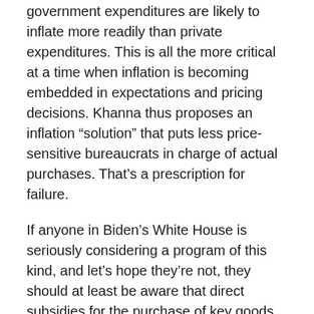government expenditures are likely to inflate more readily than private expenditures. This is all the more critical at a time when inflation is becoming embedded in expectations and pricing decisions. Khanna thus proposes an inflation “solution” that puts less price-sensitive bureaucrats in charge of actual purchases. That’s a prescription for failure.
If anyone in Biden’s White House is seriously considering a program of this kind, and let’s hope they’re not, they should at least be aware that direct subsidies for the purchase of key goods would be far more efficient. It’s also possible to hedge the risk of future price increases on commodities markets, perhaps simply distributing hedging gains to consumers when they pay off. However, having the federal government participate as a major player in commodities options and futures is probably not on the